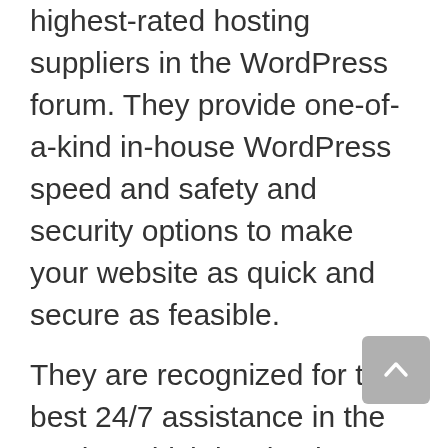highest-rated hosting suppliers in the WordPress forum. They provide one-of-a-kind in-house WordPress speed and safety and security options to make your website as quick and secure as feasible.
They are recognized for the best 24/7 assistance in the market which is why they are the main WordPress recommended hosting carrier. This is additionally why many people make use of SiteGround to host their first website. SiteGround attributes include automated upgrades, daily backups built-in WP caching, cost-free content delivery network, complimentary SSL, one-click hosting, as well as GIT version control.
Siteground is among the recommended